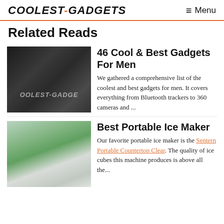COOLEST-GADGETS  Menu
Related Reads
[Figure (photo): Gadgets flatlay photo with laptop, speaker, and other electronics on dark surface with Coolest-Gadgets watermark]
46 Cool & Best Gadgets For Men
We gathered a comprehensive list of the coolest and best gadgets for men. It covers everything from Bluetooth trackers to 360 cameras and ...
[Figure (photo): Portable ice maker machine on countertop with colorful bottles and drinks around it]
Best Portable Ice Maker
Our favorite portable ice maker is the Sentern Portable Countertop Clear. The quality of ice cubes this machine produces is above all the...